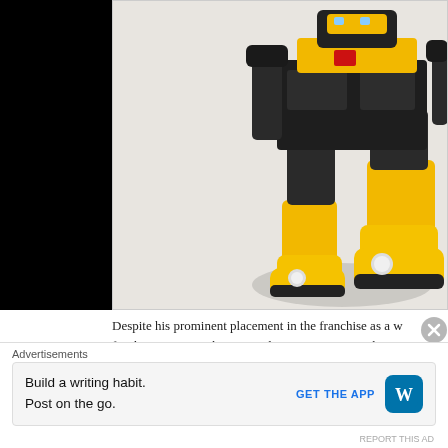[Figure (photo): A Bumblebee Transformers toy figure (yellow and black robot) photographed against a light background, showing the lower body and legs of the toy in robot mode with yellow car-mode feet/boots visible.]
Despite his prominent placement in the franchise as a w for the War For Cybertron Trilogy, mainstay Autobo
Advertisements
Build a writing habit.
Post on the go.
GET THE APP
REPORT THIS AD